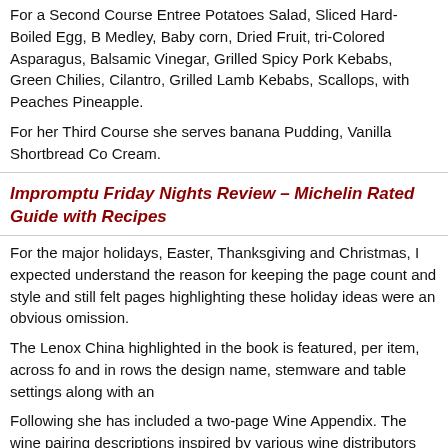For a Second Course Entree Potatoes Salad, Sliced Hard-Boiled Egg, Beef Medley, Baby corn, Dried Fruit, tri-Colored Asparagus, Balsamic Vinegar, Grilled Spicy Pork Kebabs, Green Chilies, Cilantro, Grilled Lamb Kebabs, Scallops, with Peaches Pineapple.
For her Third Course she serves banana Pudding, Vanilla Shortbread Cookies, Cream.
Impromptu Friday Nights Review – Michelin Rated Guide with Recipes
For the major holidays, Easter, Thanksgiving and Christmas, I expected a understand the reason for keeping the page count and style and still felt pages highlighting these holiday ideas were an obvious omission.
The Lenox China highlighted in the book is featured, per item, across four and in rows the design name, stemware and table settings along with an
Following she has included a two-page Wine Appendix. The wine pairing descriptions inspired by various wine distributors and wine publications.
Celebrate the Beginning of Sizzling Summer Days
Entertaining and Celebrating: An Elegant Feast for Every Season is a vis settings and menu's which invites and engages readers.